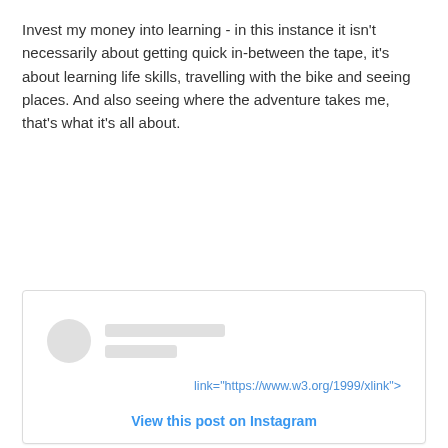Invest my money into learning - in this instance it isn't necessarily about getting quick in-between the tape, it's about learning life skills, travelling with the bike and seeing places. And also seeing where the adventure takes me, that's what it's all about.
[Figure (screenshot): Embedded Instagram post widget showing a placeholder profile avatar (grey circle) and two grey placeholder text lines, with a link text 'link="https://www.w3.org/1999/xlink">' and a 'View this post on Instagram' link at the bottom.]